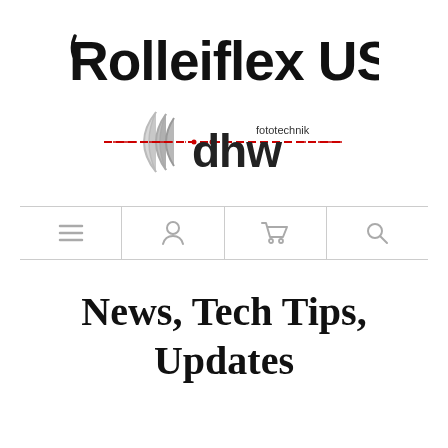[Figure (logo): Rolleiflex USA logo in bold black text with stylized R]
[Figure (logo): dhw fototechnik logo with lens elements graphic and red horizontal line]
[Figure (screenshot): Navigation bar with four icons: hamburger menu, user profile, shopping cart, search]
News, Tech Tips, Updates